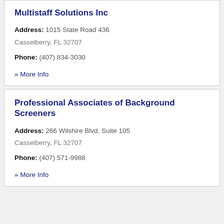Multistaff Solutions Inc
Address: 1015 State Road 436
Casselberry, FL 32707
Phone: (407) 834-3030
» More Info
Professional Associates of Background Screeners
Address: 266 Wilshire Blvd. Suite 105
Casselberry, FL 32707
Phone: (407) 571-9988
» More Info